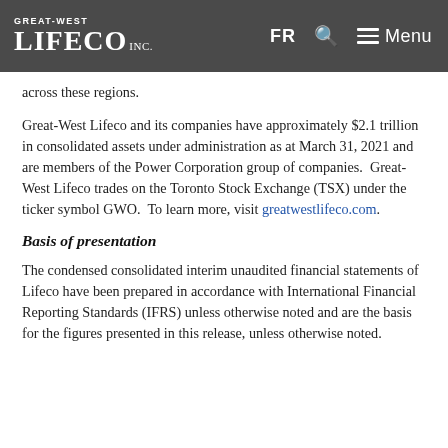GREAT-WEST LIFECO INC. | FR | Menu
across these regions.
Great-West Lifeco and its companies have approximately $2.1 trillion in consolidated assets under administration as at March 31, 2021 and are members of the Power Corporation group of companies.  Great-West Lifeco trades on the Toronto Stock Exchange (TSX) under the ticker symbol GWO.  To learn more, visit greatwestlifeco.com.
Basis of presentation
The condensed consolidated interim unaudited financial statements of Lifeco have been prepared in accordance with International Financial Reporting Standards (IFRS) unless otherwise noted and are the basis for the figures presented in this release, unless otherwise noted.